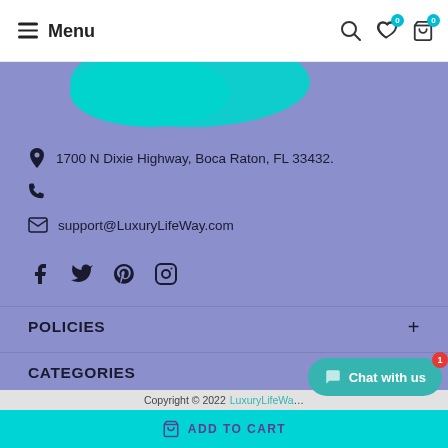Menu
[Figure (screenshot): Website footer section with purple background, teal blob decoration, contact info, social icons, accordion items for POLICIES and CATEGORIES, a teal chat button, and an ADD TO CART bar.]
1700 N Dixie Highway, Boca Raton, FL 33432.
support@LuxuryLifeWay.com
POLICIES
CATEGORIES
Copyright © 2022 LuxuryLifeWay
ADD TO CART